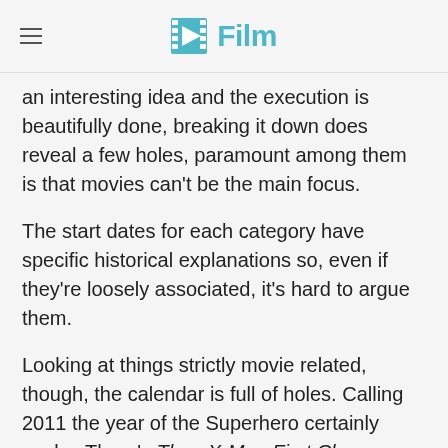/Film
an interesting idea and the execution is beautifully done, breaking it down does reveal a few holes, paramount among them is that movies can't be the main focus.
The start dates for each category have specific historical explanations so, even if they're loosely associated, it's hard to argue them.
Looking at things strictly movie related, though, the calendar is full of holes. Calling 2011 the year of the Superhero certainly works. There's Thor, X-Men First Class, Green Lantern and more. But they say the previous year of the superhero was 1999. Of the top fifty highest grossing films of that year, none are legitimate superhero movies. Last year, 2010, is